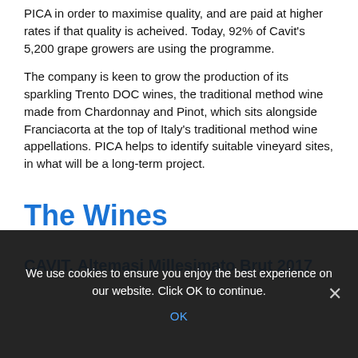PICA in order to maximise quality, and are paid at higher rates if that quality is acheived. Today, 92% of Cavit's 5,200 grape growers are using the programme.
The company is keen to grow the production of its sparkling Trento DOC wines, the traditional method wine made from Chardonnay and Pinot, which sits alongside Franciacorta at the top of Italy's traditional method wine appellations. PICA helps to identify suitable vineyard sites, in what will be a long-term project.
The Wines
CAVIT, Altemasi Millesimato Brut 2017
We use cookies to ensure you enjoy the best experience on our website. Click OK to continue.